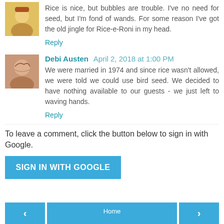Rice is nice, but bubbles are trouble. I've no need for seed, but I'm fond of wands. For some reason I've got the old jingle for Rice-e-Roni in my head.
Reply
Debi Austen  April 2, 2018 at 1:00 PM
We were married in 1974 and since rice wasn't allowed, we were told we could use bird seed. We decided to have nothing available to our guests - we just left to waving hands.
Reply
To leave a comment, click the button below to sign in with Google.
SIGN IN WITH GOOGLE